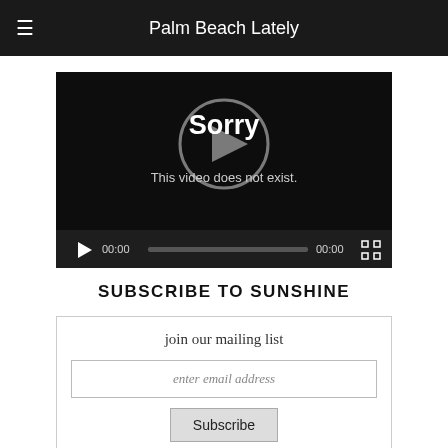≡  Palm Beach Lately
[Figure (screenshot): Video player showing error: 'Sorry — This video does not exist.' with play controls showing 00:00 / 00:00 and a seek bar.]
SUBSCRIBE TO SUNSHINE
join our mailing list
enter email address
Subscribe